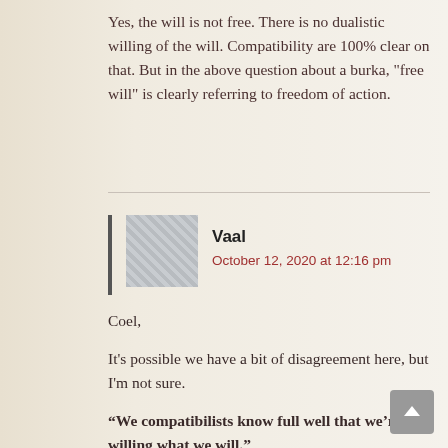Yes, the will is not free. There is no dualistic willing of the will. Compatibility are 100% clear on that. But in the above question about a burka, "free will" is clearly referring to freedom of action.
Vaal
October 12, 2020 at 12:16 pm
Coel,
It's possible we have a bit of disagreement here, but I'm not sure.
“We compatibilists know full well that we’re not willing what we will.”
I'm not sure we can't, in a sense, “will what we will.”